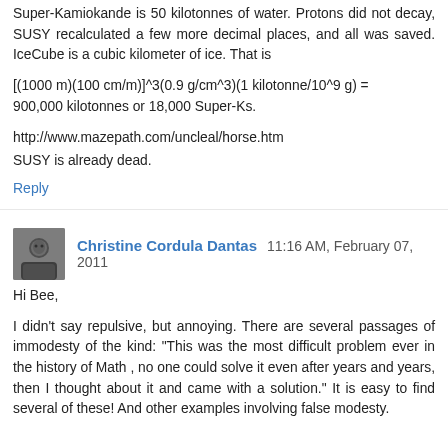Super-Kamiokande is 50 kilotonnes of water. Protons did not decay, SUSY recalculated a few more decimal places, and all was saved. IceCube is a cubic kilometer of ice. That is
[(1000 m)(100 cm/m)]^3(0.9 g/cm^3)(1 kilotonne/10^9 g) = 900,000 kilotonnes or 18,000 Super-Ks.
http://www.mazepath.com/uncleal/horse.htm
SUSY is already dead.
Reply
Christine Cordula Dantas  11:16 AM, February 07, 2011
Hi Bee,
I didn't say repulsive, but annoying. There are several passages of immodesty of the kind: "This was the most difficult problem ever in the history of Math , no one could solve it even after years and years, then I thought about it and came with a solution." It is easy to find several of these! And other examples involving false modesty.